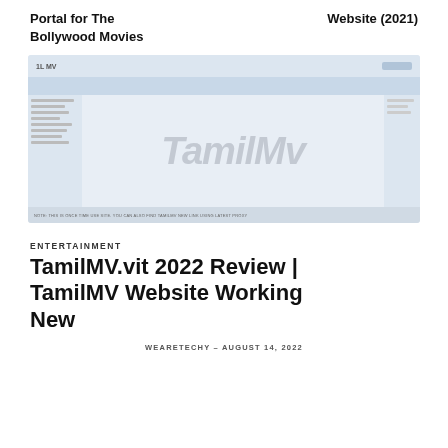Portal for The Bollywood Movies
Website (2021)
[Figure (screenshot): Screenshot of TamilMv website with watermark text 'TamilMv' overlaid on the page content]
ENTERTAINMENT
TamilMV.vit 2022 Review | TamilMV Website Working New
WEARETECHY – AUGUST 14, 2022